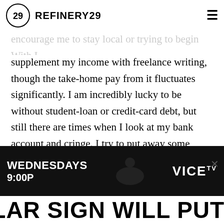REFINERY29
supplement my income with freelance writing, though the take-home pay from it fluctuates significantly. I am incredibly lucky to be without student-loan or credit-card debt, but still there are times when I look at my bank account and cringe. I try to put away some money for the future — robo-investing is a huge help — but it's not happening nearly as quickly as it once did. Nonetheless, I know firsthand that being a slave to the dollar sign will put you in a never-ending cycle of basing your happiness, future endeavors, and daily well-being on a sometimes-superficial indicator of success.
[Figure (screenshot): Advertisement banner for VICE TV showing 'WEDNESDAYS 9:00P' with a dark background and silhouette of a person]
DOLLAR SIGN WILL PUT YOU